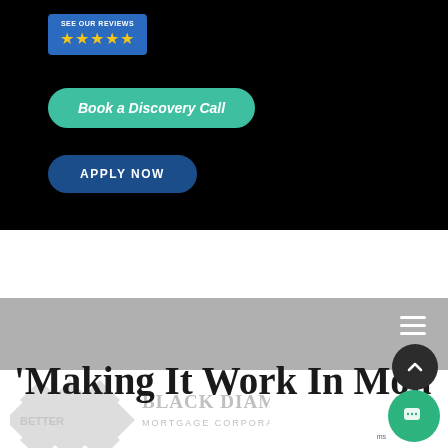[Figure (screenshot): Website screenshot of Black Diamond Mortgage Corporation page showing reviews badge with 5 stars, Book a Discovery Call button (teal/green), Apply Now button (dark blue), gray navigation bar with hamburger menu, company logo, and partial page title reading 'Making It Work In Monta']
‘Making It Work In Monta’